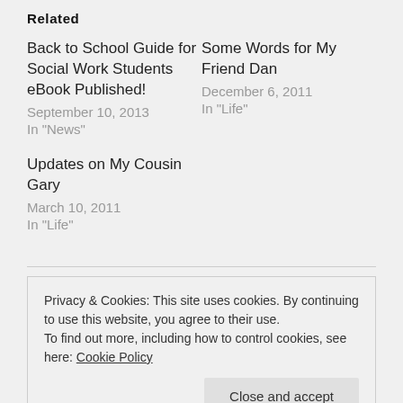Related
Back to School Guide for Social Work Students eBook Published!
September 10, 2013
In "News"
Some Words for My Friend Dan
December 6, 2011
In "Life"
Updates on My Cousin Gary
March 10, 2011
In "Life"
Privacy & Cookies: This site uses cookies. By continuing to use this website, you agree to their use.
To find out more, including how to control cookies, see here: Cookie Policy